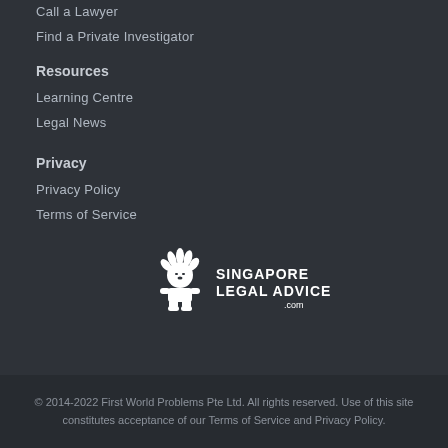Call a Lawyer
Find a Private Investigator
Resources
Learning Centre
Legal News
Privacy
Privacy Policy
Terms of Service
[Figure (logo): Singapore Legal Advice .com logo with a stylized white lion and text]
© 2014-2022 First World Problems Pte Ltd. All rights reserved. Use of this site constitutes acceptance of our Terms of Service and Privacy Policy.